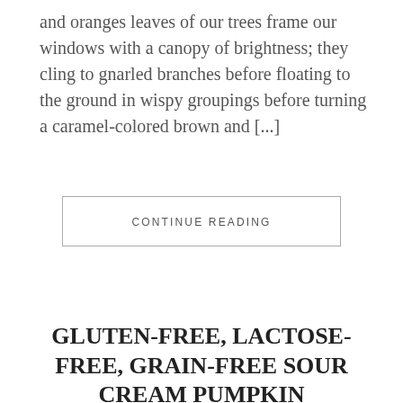and oranges leaves of our trees frame our windows with a canopy of brightness; they cling to gnarled branches before floating to the ground in wispy groupings before turning a caramel-colored brown and [...]
CONTINUE READING
GLUTEN-FREE, LACTOSE-FREE, GRAIN-FREE SOUR CREAM PUMPKIN CAKELETTES
October 7, 2013 • 10 comments
This is a post I've wanted to write for a while now